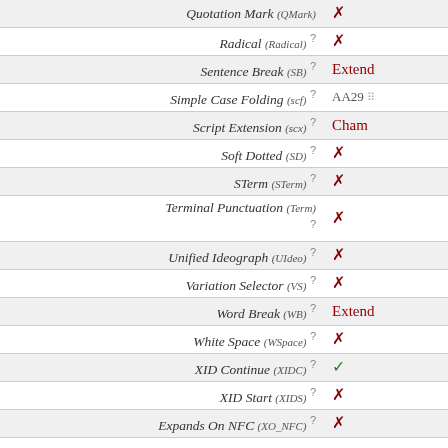| Property | Value |
| --- | --- |
| Quotation Mark (QMark) | ✗ |
| Radical (Radical) ? | ✗ |
| Sentence Break (SB) ? | Extend |
| Simple Case Folding (scf) ? | AA29 |
| Script Extension (scx) ? | Cham |
| Soft Dotted (SD) ? | ✗ |
| STerm (STerm) ? | ✗ |
| Terminal Punctuation (Term) ? | ✗ |
| Unified Ideograph (UIdeо) ? | ✗ |
| Variation Selector (VS) ? | ✗ |
| Word Break (WB) ? | Extend |
| White Space (WSpace) ? | ✗ |
| XID Continue (XIDC) ? | ✓ |
| XID Start (XIDS) ? | ✗ |
| Expands On NFC (XO_NFC) ? | ✗ |